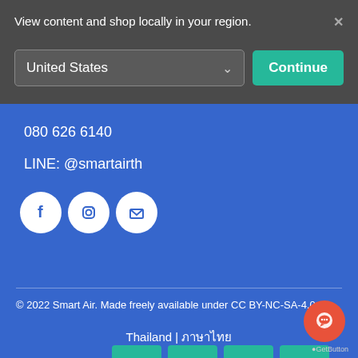View content and shop locally in your region.
United States
Continue
080 626 6140
LINE: @smartairth
[Figure (illustration): Social media icons: Facebook, Instagram, Email in white circles on blue background]
© 2022 Smart Air. Made freely available under CC BY-NC-SA-4.0
Thailand | ภาษาไทย
[Figure (illustration): Green grid/pattern blocks arranged in two rows]
[Figure (illustration): Orange/red circular chat button with speech bubble icon and GetButton label]